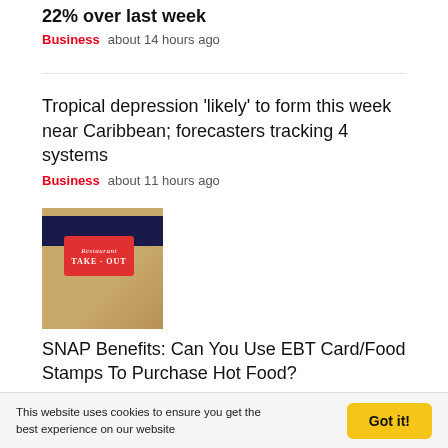22% over last week
Business  about 14 hours ago
Tropical depression 'likely' to form this week near Caribbean; forecasters tracking 4 systems
Business  about 11 hours ago
[Figure (photo): Hands holding a brown paper takeout bag with a red 'TAKE-OUT' label sticker on it]
SNAP Benefits: Can You Use EBT Card/Food Stamps To Purchase Hot Food?
Business  about 14 hours ago
[Figure (photo): A student loan card or document with yellow folder, blue background]
This website uses cookies to ensure you get the best experience on our website
Got it!